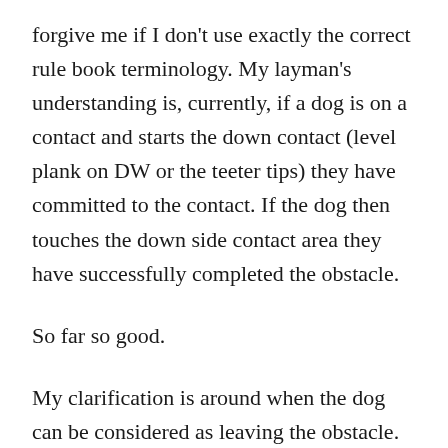forgive me if I don't use exactly the correct rule book terminology. My layman's understanding is, currently, if a dog is on a contact and starts the down contact (level plank on DW or the teeter tips) they have committed to the contact. If the dog then touches the down side contact area they have successfully completed the obstacle.
So far so good.
My clarification is around when the dog can be considered as leaving the obstacle. In AKC and other organizations the dog has left the